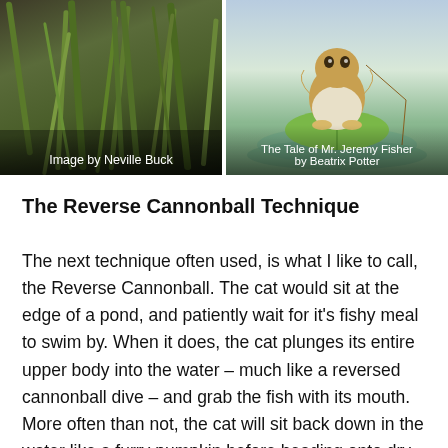[Figure (photo): Photo of reeds and grass near water, attributed to Neville Buck]
Image by Neville Buck
[Figure (illustration): Illustration from The Tale of Mr. Jeremy Fisher by Beatrix Potter, showing a frog sitting on a lily pad near water]
The Tale of Mr. Jeremy Fisher by Beatrix Potter
The Reverse Cannonball Technique
The next technique often used, is what I like to call, the Reverse Cannonball. The cat would sit at the edge of a pond, and patiently wait for it’s fishy meal to swim by. When it does, the cat plunges its entire upper body into the water – much like a reversed cannonball dive – and grab the fish with its mouth. More often than not, the cat will sit back down in the water like a furry pumpkin before heading onto dry land, to finish its well-earned meal.